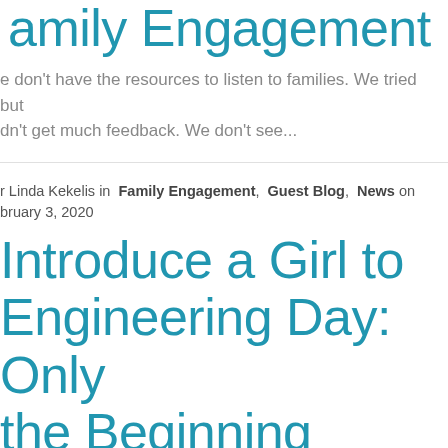Family Engagement
e don't have the resources to listen to families. We tried but dn't get much feedback. We don't see...
r Linda Kekelis in  Family Engagement,  Guest Blog,  News on  bruary 3, 2020
Introduce a Girl to Engineering Day: Only the Beginning